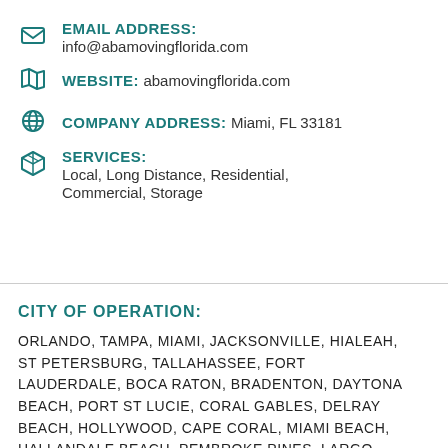EMAIL ADDRESS: info@abamovingflorida.com
WEBSITE: abamovingflorida.com
COMPANY ADDRESS: Miami, FL 33181
SERVICES: Local, Long Distance, Residential, Commercial, Storage
[Figure (illustration): Accessibility icon (wheelchair symbol) white on teal background]
CITY OF OPERATION:
ORLANDO, TAMPA, MIAMI, JACKSONVILLE, HIALEAH, ST PETERSBURG, TALLAHASSEE, FORT LAUDERDALE, BOCA RATON, BRADENTON, DAYTONA BEACH, PORT ST LUCIE, CORAL GABLES, DELRAY BEACH, HOLLYWOOD, CAPE CORAL, MIAMI BEACH, HALLANDALE BEACH, PEMBROKE PINES, LARGO, JUPITER, KENDALL, NORTH MIAMI, BOYNTON